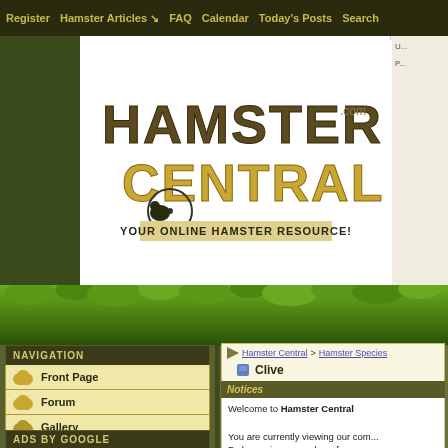Register | Hamster Articles | FAQ | Calendar | Today's Posts | Search
[Figure (logo): Hamster Central .com logo with stylized text and hamster graphic, tagline: YOUR ONLINE HAMSTER RESOURCE!]
NAVIGATION
Front Page
Forum
Gallery
Wiki
ADS BY GOOGLE
Hamster Central > Hamster Species
Clive
Notices
Welcome to Hamster Central

You are currently viewing our com... By becoming a member of our co... and access many other special fe...

If you have any problems with the...
POSTREPLY